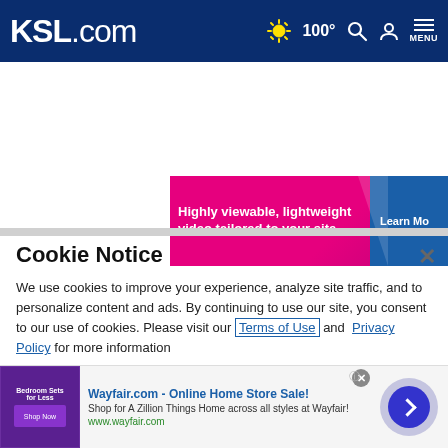KSL.com  100°  [search] [account] MENU
[Figure (screenshot): Advertisement banner: pink/magenta background with text 'Highly viewable, lightweight video tailored to your site' and blue 'Learn Mo' button on right side]
Cookie Notice
We use cookies to improve your experience, analyze site traffic, and to personalize content and ads. By continuing to use our site, you consent to our use of cookies. Please visit our Terms of Use and  Privacy Policy for more information
[Figure (screenshot): Bottom ad bar: Wayfair.com - Online Home Store Sale! Shop for A Zillion Things Home across all styles at Wayfair! www.wayfair.com, with purple bedroom sets thumbnail and circular arrow button]